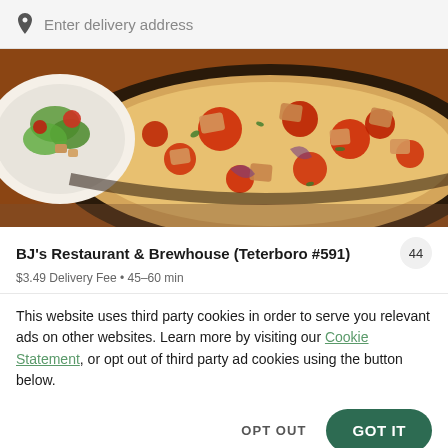Enter delivery address
[Figure (photo): Food photo showing a deep-dish pizza with tomatoes, cheese, and toppings in a dark skillet pan, with a bowl of salad visible on the left side.]
BJ's Restaurant & Brewhouse (Teterboro #591)
$3.49 Delivery Fee • 45-60 min
This website uses third party cookies in order to serve you relevant ads on other websites. Learn more by visiting our Cookie Statement, or opt out of third party ad cookies using the button below.
OPT OUT
GOT IT